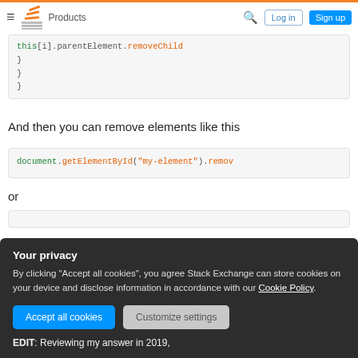Stack Overflow navigation: hamburger menu, logo, Products, search, Log in, Sign up
[Figure (screenshot): Code block showing: this[i].parentElement.removeChild followed by closing braces]
And then you can remove elements like this
[Figure (screenshot): Code block: document.getElementById("my-element").remov]
or
[Figure (screenshot): Partial code block for second 'or' example (cut off by privacy banner)]
Your privacy
By clicking "Accept all cookies", you agree Stack Exchange can store cookies on your device and disclose information in accordance with our Cookie Policy.
Accept all cookies  Customize settings
EDIT: Reviewing my answer in 2019,